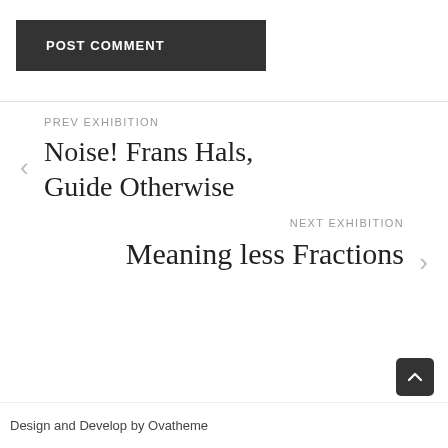POST COMMENT
PREV EXHIBITION
Noise! Frans Hals, Guide Otherwise
NEXT EXHIBITION
Meaning less Fractions
Design and Develop by Ovatheme